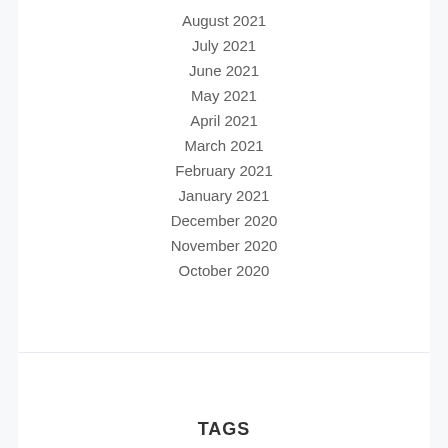August 2021
July 2021
June 2021
May 2021
April 2021
March 2021
February 2021
January 2021
December 2020
November 2020
October 2020
TAGS